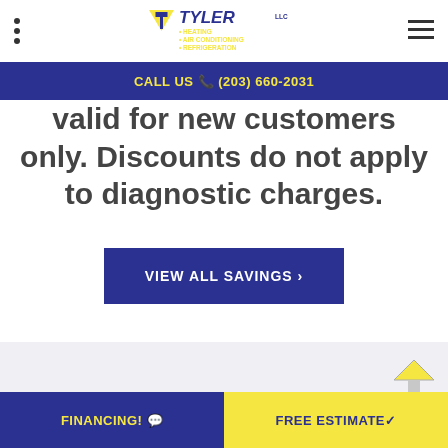Tyler LLC · Heating · Air Conditioning · Refrigeration
CALL US (203) 660-2031
valid for new customers only. Discounts do not apply to diagnostic charges.
VIEW ALL SAVINGS ›
TOP
FINANCING! | FREE ESTIMATE